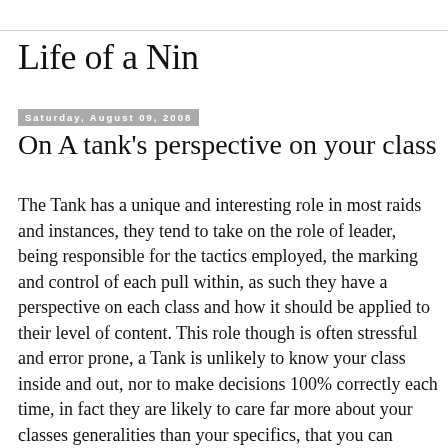Life of a Nin
Saturday, August 09, 2008
On A tank's perspective on your class
The Tank has a unique and interesting role in most raids and instances, they tend to take on the role of leader, being responsible for the tactics employed, the marking and control of each pull within, as such they have a perspective on each class and how it should be applied to their level of content. This role though is often stressful and error prone, a Tank is unlikely to know your class inside and out, nor to make decisions 100% correctly each time, in fact they are likely to care far more about your classes generalities than your specifics, that you can control a mob for the duration of the pull is more important than whether that target is made immobile, or is simply juggled between two dps classes until it dies. This is the fine art Tanks apply to a party, providing the expertise and knowledge of instances and pulls such that